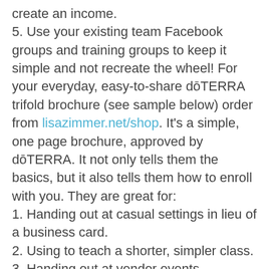create an income.
5. Use your existing team Facebook groups and training groups to keep it simple and not recreate the wheel! For your everyday, easy-to-share dōTERRA trifold brochure (see sample below) order from lisazimmer.net/shop. It's a simple, one page brochure, approved by dōTERRA. It not only tells them the basics, but it also tells them how to enroll with you. They are great for:
1. Handing out at casual settings in lieu of a business card.
2. Using to teach a shorter, simpler class.
3. Handing out at vendor events.